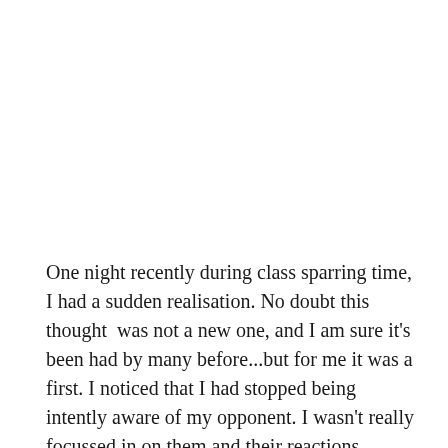One night recently during class sparring time, I had a sudden realisation. No doubt this thought  was not a new one, and I am sure it's been had by many before...but for me it was a first. I noticed that I had stopped being intently aware of my opponent. I wasn't really focussed in on them and their reactions,